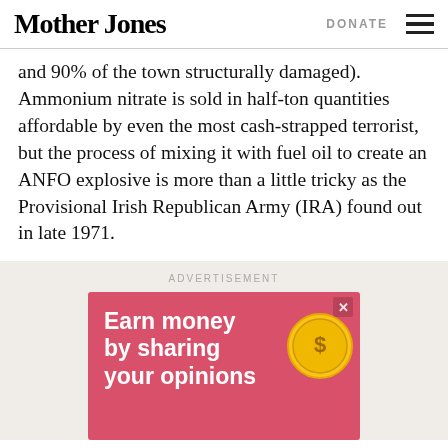Mother Jones | DONATE
and 90% of the town structurally damaged). Ammonium nitrate is sold in half-ton quantities affordable by even the most cash-strapped terrorist, but the process of mixing it with fuel oil to create an ANFO explosive is more than a little tricky as the Provisional Irish Republican Army (IRA) found out in late 1971.
[Figure (other): Advertisement banner with pink/red background showing text 'Earn money by sharing your opinions' with a gold coin graphic with dollar sign]